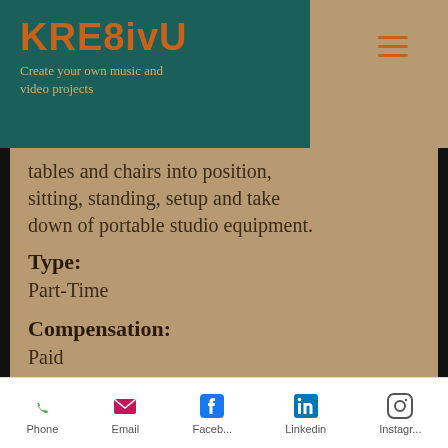KRE8ivU — Create your own music and video projects
tables and chairs into position, sitting, standing, setup and take down of portable studio equipment.
Type:
Part-Time
Compensation:
Paid
Experience Level:
Entry: Minimum 2 years or more professional video
Phone  Email  Faceb...  Linkedin  Instagr...